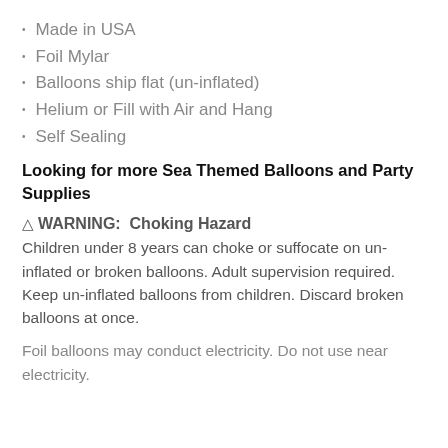Made in USA
Foil Mylar
Balloons ship flat (un-inflated)
Helium or Fill with Air and Hang
Self Sealing
Looking for more Sea Themed Balloons and Party Supplies
⚠ WARNING:  Choking Hazard
Children under 8 years can choke or suffocate on un-inflated or broken balloons. Adult supervision required. Keep un-inflated balloons from children. Discard broken balloons at once.
Foil balloons may conduct electricity. Do not use near electricity.